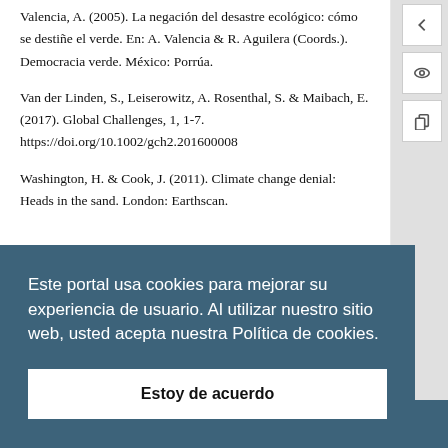Valencia, A. (2005). La negación del desastre ecológico: cómo se destiñe el verde. En: A. Valencia & R. Aguilera (Coords.). Democracia verde. México: Porrúa.
Van der Linden, S., Leiserowitz, A. Rosenthal, S. & Maibach, E. (2017). Global Challenges, 1, 1-7. https://doi.org/10.1002/gch2.201600008
Washington, H. & Cook, J. (2011). Climate change denial: Heads in the sand. London: Earthscan.
Este portal usa cookies para mejorar su experiencia de usuario. Al utilizar nuestro sitio web, usted acepta nuestra Política de cookies.
Estoy de acuerdo
Tutoriales